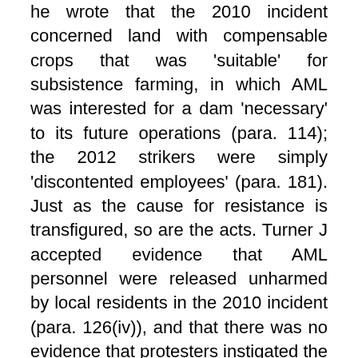he wrote that the 2010 incident concerned land with compensable crops that was 'suitable' for subsistence farming, in which AML was interested for a dam 'necessary' to its future operations (para. 114); the 2012 strikers were simply 'discontented employees' (para. 181). Just as the cause for resistance is transfigured, so are the acts. Turner J accepted evidence that AML personnel were released unharmed by local residents in the 2010 incident (para. 126(iv)), and that there was no evidence that protesters instigated the violence in the 2012 incident (para. 182). Nevertheless, their acts are defined in terms of illegality and criminality. Their resistance is said to reveal local people as 'prone to react to real or perceived injustices…by deploying unlawful means' (para. 279) and to exemplify 'criminality', the consequences of which if tolerated 'would likely be a complete breakdown in